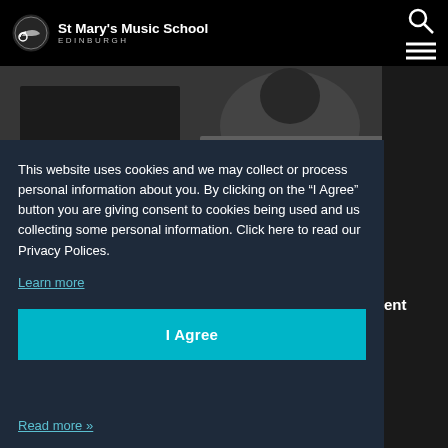St Mary's Music School EDINBURGH
[Figure (photo): Black and white photo of a person playing piano, viewed from behind]
This website uses cookies and we may collect or process personal information about you. By clicking on the “I Agree” button you are giving consent to cookies being used and us collecting some personal information. Click here to read our Privacy Polices.
Learn more
I Agree
Read more »